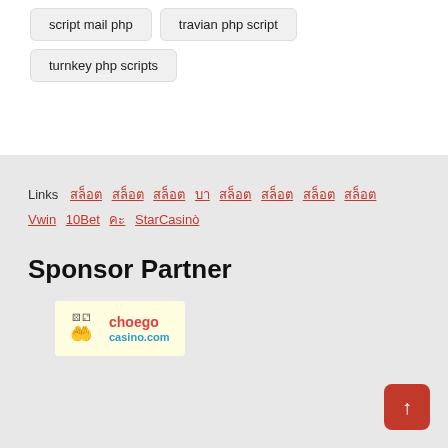script mail php
travian php script
turnkey php scripts
Links  สล็อต  สล็อต  สล็อต  บา  สล็อต  สล็อต  สล็อต  สล็อต  Vwin  10Bet  คะ  StarCasinò
Sponsor Partner
[Figure (logo): choego casino.com logo — yellow background with dice, hand icon, and red/blue text]